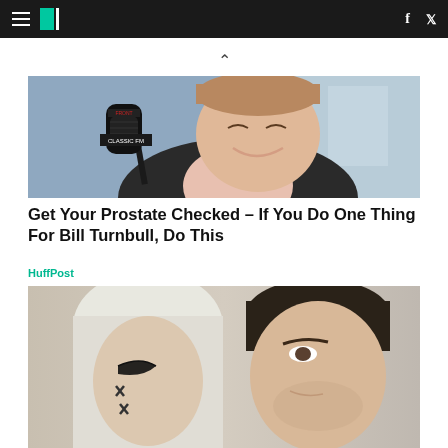HuffPost navigation with hamburger menu, logo, Facebook and Twitter icons
[Figure (photo): Man smiling with a Classic FM microphone in front of him, sitting at a radio studio desk]
Get Your Prostate Checked – If You Do One Thing For Bill Turnbull, Do This
HuffPost
[Figure (photo): Woman with platinum blonde hair and theatrical makeup (X marks on cheeks) next to a dark-haired man]